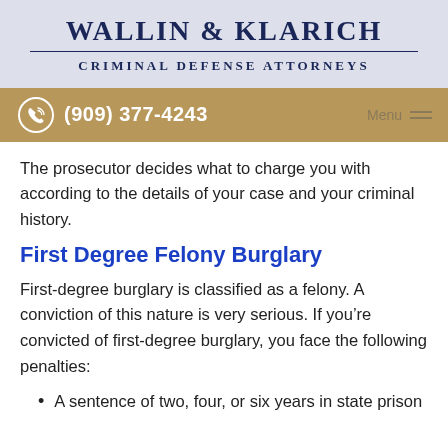WALLIN & KLARICH
CRIMINAL DEFENSE ATTORNEYS
(909) 377-4243 | Menu
The prosecutor decides what to charge you with according to the details of your case and your criminal history.
First Degree Felony Burglary
First-degree burglary is classified as a felony. A conviction of this nature is very serious. If you’re convicted of first-degree burglary, you face the following penalties:
A sentence of two, four, or six years in state prison